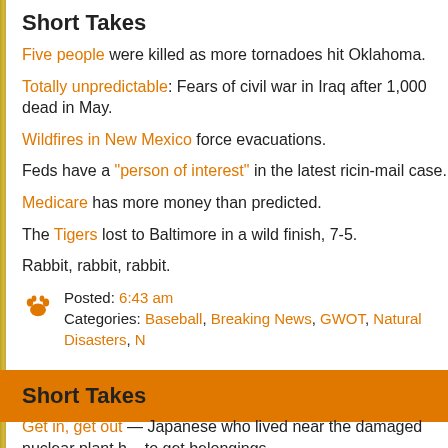Short Takes
Five people were killed as more tornadoes hit Oklahoma.
Totally unpredictable: Fears of civil war in Iraq after 1,000 dead in May.
Wildfires in New Mexico force evacuations.
Feds have a "person of interest" in the latest ricin-mail case.
Medicare has more money than predicted.
The Tigers lost to Baltimore in a wild finish, 7-5.
Rabbit, rabbit, rabbit.
Posted: 6:43 am
Categories: Baseball, Breaking News, GWOT, Natural Disasters, ...
Short Takes
Get in, get out — Japanese who lived near the damaged nuclear plant h... to get belongings.
The U.S. will deploy armed Predator drones in Libya.
Demonstrations continue in Syria.